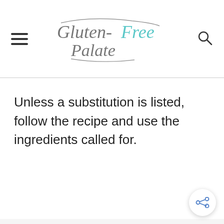Gluten-Free Palate
Unless a substitution is listed, follow the recipe and use the ingredients called for.